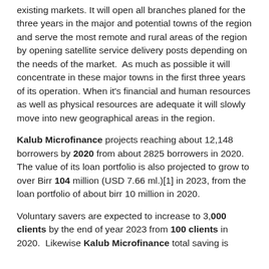existing markets. It will open all branches planed for the three years in the major and potential towns of the region and serve the most remote and rural areas of the region by opening satellite service delivery posts depending on the needs of the market.  As much as possible it will concentrate in these major towns in the first three years of its operation. When it's financial and human resources as well as physical resources are adequate it will slowly move into new geographical areas in the region.
Kalub Microfinance projects reaching about 12,148 borrowers by 2020 from about 2825 borrowers in 2020. The value of its loan portfolio is also projected to grow to over Birr 104 million (USD 7.66 ml.)[1] in 2023, from the loan portfolio of about birr 10 million in 2020.
Voluntary savers are expected to increase to 3,000 clients by the end of year 2023 from 100 clients in 2020.  Likewise Kalub Microfinance total saving is